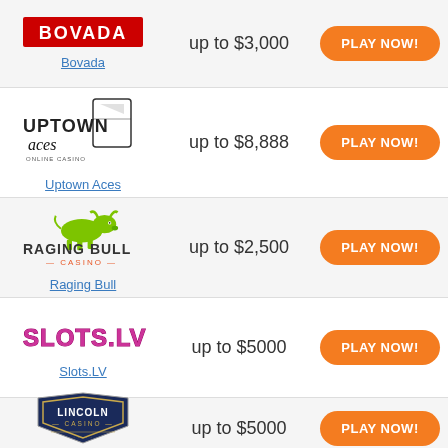[Figure (logo): Bovada logo in red block letters]
up to $3,000
PLAY NOW!
Bovada
[Figure (logo): Uptown Aces Online Casino logo with playing cards]
up to $8,888
PLAY NOW!
Uptown Aces
[Figure (logo): Raging Bull Casino logo with green bull]
up to $2,500
PLAY NOW!
Raging Bull
[Figure (logo): Slots.LV logo in pink/magenta stylized text]
up to $5000
PLAY NOW!
Slots.LV
[Figure (logo): Lincoln Casino shield/crest logo]
up to $5000
PLAY NOW!
Lincoln Casino